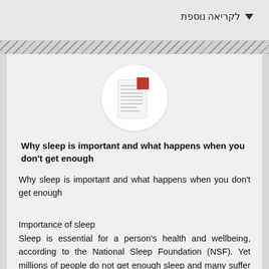▼ לקריאה נוספת
[Figure (illustration): A circular white icon showing a document/article illustration with red accent at top right corner]
Why sleep is important and what happens when you don't get enough
Why sleep is important and what happens when you don't get enough
Importance of sleep
Sleep is essential for a person's health and wellbeing, according to the National Sleep Foundation (NSF). Yet millions of people do not get enough sleep and many suffer from lack of sleep and many suffer from